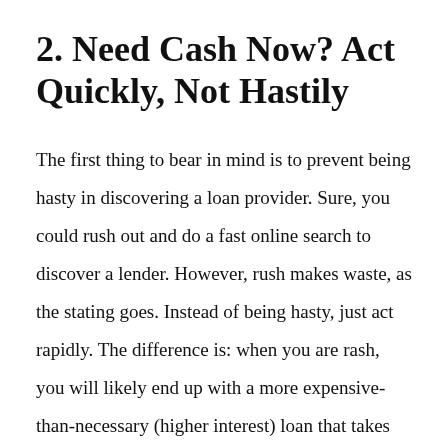2. Need Cash Now? Act Quickly, Not Hastily
The first thing to bear in mind is to prevent being hasty in discovering a loan provider. Sure, you could rush out and do a fast online search to discover a lender. However, rush makes waste, as the stating goes. Instead of being hasty, just act rapidly. The difference is: when you are rash, you will likely end up with a more expensive-than-necessary (higher interest) loan that takes longer to get. However when you fast and efficient, you can land